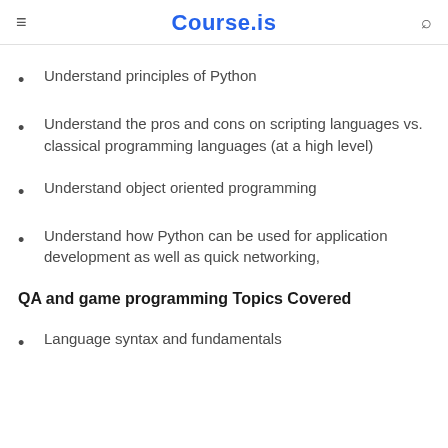Course.is
Understand principles of Python
Understand the pros and cons on scripting languages vs. classical programming languages (at a high level)
Understand object oriented programming
Understand how Python can be used for application development as well as quick networking,
QA and game programming Topics Covered
Language syntax and fundamentals